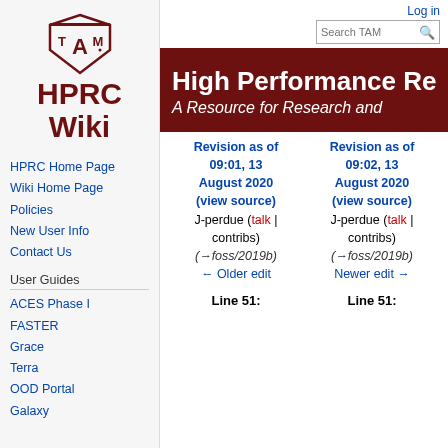[Figure (logo): Texas A&M University HPRC Wiki logo with ATM shield emblem and HPRC Wiki text in dark red]
HPRC Home Page
Wiki Home Page
Policies
New User Info
Contact Us
User Guides
ACES Phase I
FASTER
Grace
Terra
OOD Portal
Galaxy
Log in
High Performance Re... A Resource for Research and...
Revision as of 09:01, 13 August 2020 (view source) J-perdue (talk | contribs) (→foss/2019b) ← Older edit
Revision as of 09:02, 13 August 2020 (view source) J-perdue (talk | contribs) (→foss/2019b) Newer edit →
Line 51:   Line 51: